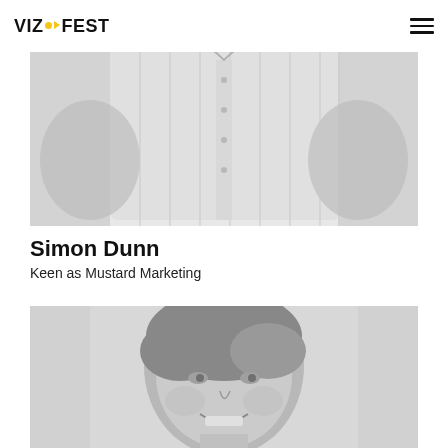VIZ FEST
[Figure (photo): Black and white photo of Simon Dunn, showing torso/chest area with arms crossed, wearing a light striped shirt]
Simon Dunn
Keen as Mustard Marketing
[Figure (photo): Black and white close-up portrait photo of a smiling woman with short brown hair]